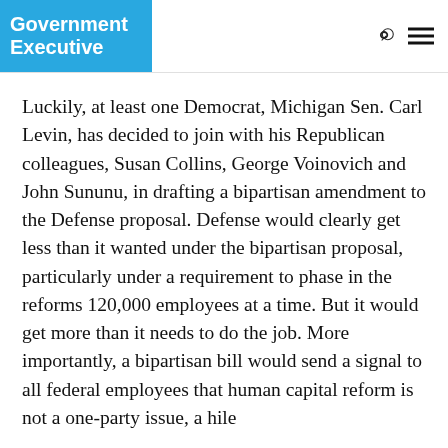Government Executive
Luckily, at least one Democrat, Michigan Sen. Carl Levin, has decided to join with his Republican colleagues, Susan Collins, George Voinovich and John Sununu, in drafting a bipartisan amendment to the Defense proposal. Defense would clearly get less than it wanted under the bipartisan proposal, particularly under a requirement to phase in the reforms 120,000 employees at a time. But it would get more than it needs to do the job. More importantly, a bipartisan bill would send a signal to all federal employees that human capital reform is not a one-party issue, a hile